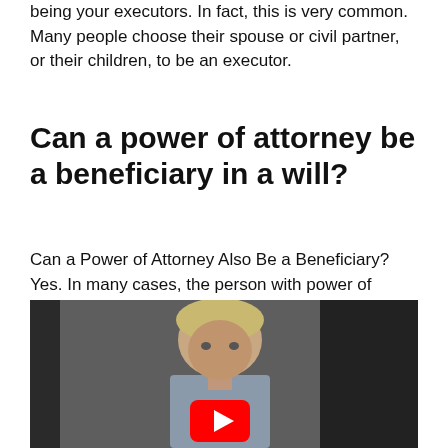being your executors. In fact, this is very common. Many people choose their spouse or civil partner, or their children, to be an executor.
Can a power of attorney be a beneficiary in a will?
Can a Power of Attorney Also Be a Beneficiary? Yes. In many cases, the person with power of attorney is also a beneficiary. As an example, you may give your power of attorney to your spouse.
[Figure (screenshot): Video thumbnail showing a man with grey/blonde hair speaking, with a YouTube play button overlay in the lower center.]